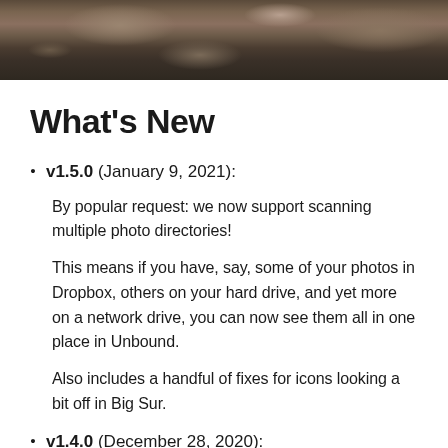[Figure (photo): Header photo of rocky terrain/landscape with brown and grey tones]
What's New
v1.5.0 (January 9, 2021):
By popular request: we now support scanning multiple photo directories!
This means if you have, say, some of your photos in Dropbox, others on your hard drive, and yet more on a network drive, you can now see them all in one place in Unbound.
Also includes a handful of fixes for icons looking a bit off in Big Sur.
v1.4.0 (December 28, 2020):